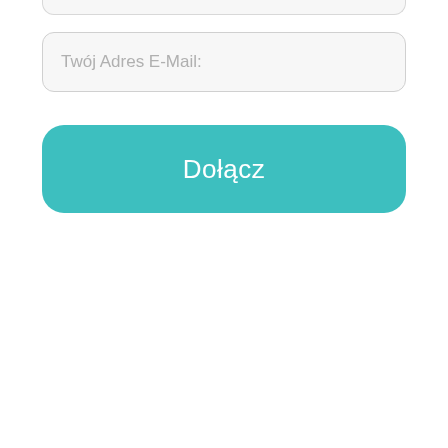[Figure (screenshot): Partial bottom edge of an input field (truncated at top of page)]
Twój Adres E-Mail:
Dołącz